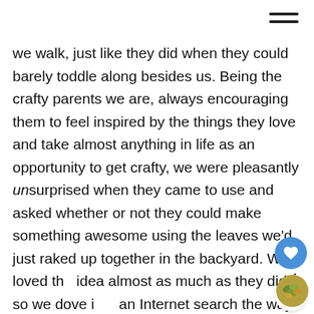[Figure (other): Hamburger menu icon (three horizontal lines) in the top right corner]
we walk, just like they did when they could barely toddle along besides us. Being the crafty parents we are, always encouraging them to feel inspired by the things they love and take almost anything in life as an opportunity to get crafty, we were pleasantly unsurprised when they came to use and asked whether or not they could make something awesome using the leaves we'd just raked up together in the backyard. We loved th idea almost as much as they did, so we dove in an Internet search the way the kids dove into the leaf piles in the yard earlier, looking for as many
[Figure (other): Blue circular heart/like button with white heart icon, showing count of 4]
[Figure (other): White circular share button with share icon]
[Figure (photo): Small circular thumbnail image showing autumn leaves]